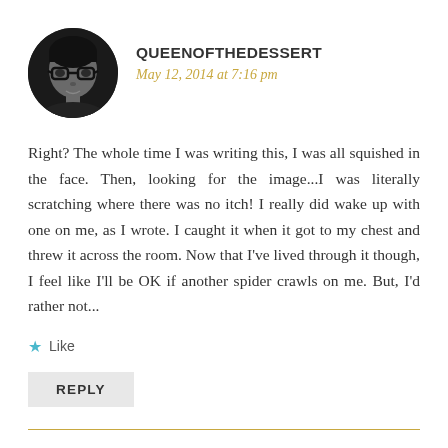[Figure (photo): Black and white circular avatar photo of a woman with glasses]
QUEENOFTHEDESSERT
May 12, 2014 at 7:16 pm
Right? The whole time I was writing this, I was all squished in the face. Then, looking for the image...I was literally scratching where there was no itch! I really did wake up with one on me, as I wrote. I caught it when it got to my chest and threw it across the room. Now that I've lived through it though, I feel like I'll be OK if another spider crawls on me. But, I'd rather not...
Like
REPLY